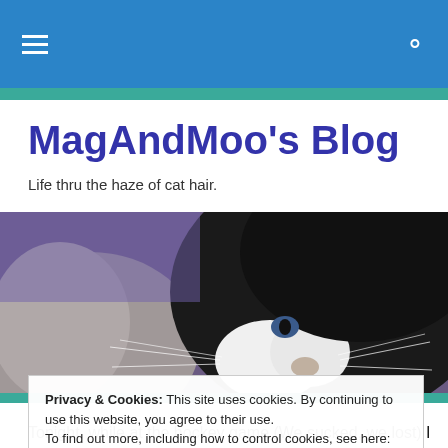MagAndMoo's Blog — navigation bar with hamburger menu and search icon
MagAndMoo's Blog
Life thru the haze of cat hair.
[Figure (photo): Close-up photo of a black and white cat resting, with purple background, whiskers visible]
Privacy & Cookies: This site uses cookies. By continuing to use this website, you agree to their use.
To find out more, including how to control cookies, see here: Cookie Policy
Tonight, while at the hockey game (We sucked, we lost) I